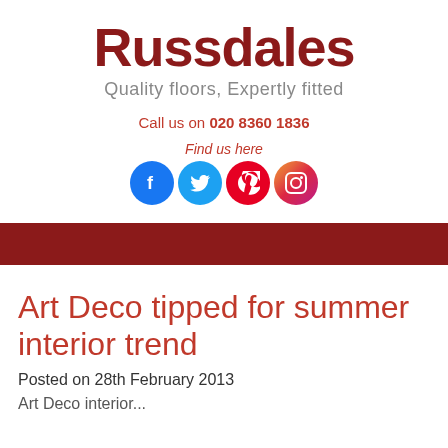Russdales
Quality floors, Expertly fitted
Call us on 020 8360 1836
Find us here
[Figure (illustration): Four social media icons: Facebook (blue), Twitter (light blue), Pinterest (red), Instagram (gradient)]
Art Deco tipped for summer interior trend
Posted on 28th February 2013
Art Deco interior...